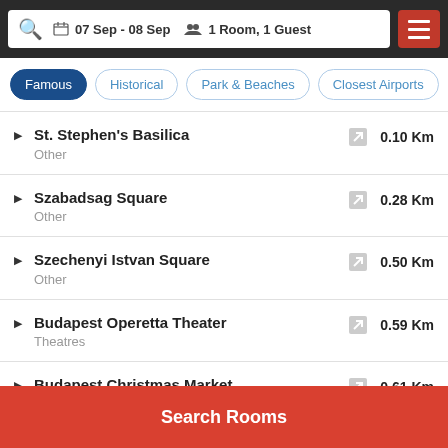07 Sep - 08 Sep | 1 Room, 1 Guest
Famous | Historical | Park & Beaches | Closest Airports
St. Stephen's Basilica — Other — 0.10 Km
Szabadsag Square — Other — 0.28 Km
Szechenyi Istvan Square — Other — 0.50 Km
Budapest Operetta Theater — Theatres — 0.59 Km
Budapest Christmas Market — Other — 0.61 Km
Chain Bridge — 0.72 Km
Search Rooms